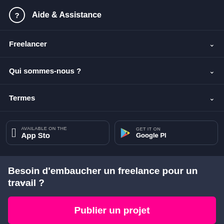Aide & Assistance
Freelancer
Qui sommes-nous ?
Termes
[Figure (screenshot): App store buttons: Available on the App Store and GET IT ON Google Play]
Besoin d'embaucher un freelance pour un travail ?
Publier un projet